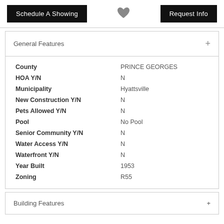Schedule A Showing
Request Info
General Features +
| Feature | Value |
| --- | --- |
| County | PRINCE GEORGES |
| HOA Y/N | N |
| Municipality | Hyattsville |
| New Construction Y/N | N |
| Pets Allowed Y/N | N |
| Pool | No Pool |
| Senior Community Y/N | N |
| Water Access Y/N | N |
| Waterfront Y/N | N |
| Year Built | 1953 |
| Zoning | R55 |
Building Features +